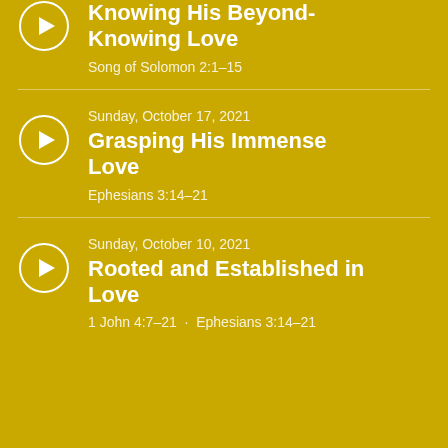Knowing His Beyond-Knowing Love
Song of Solomon 2:1–15
Sunday, October 17, 2021
Grasping His Immense Love
Ephesians 3:14–21
Sunday, October 10, 2021
Rooted and Established in Love
1 John 4:7–21 · Ephesians 3:14–21